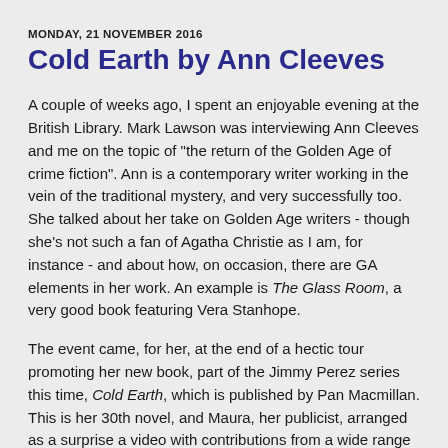MONDAY, 21 NOVEMBER 2016
Cold Earth by Ann Cleeves
A couple of weeks ago, I spent an enjoyable evening at the British Library. Mark Lawson was interviewing Ann Cleeves and me on the topic of "the return of the Golden Age of crime fiction". Ann is a contemporary writer working in the vein of the traditional mystery, and very successfully too. She talked about her take on Golden Age writers - though she's not such a fan of Agatha Christie as I am, for instance - and about how, on occasion, there are GA elements in her work. An example is The Glass Room, a very good book featuring Vera Stanhope.
The event came, for her, at the end of a hectic tour promoting her new book, part of the Jimmy Perez series this time, Cold Earth, which is published by Pan Macmillan. This is her 30th novel, and Maura, her publicist, arranged as a surprise a video with contributions from a wide range of writers, including Ian Rankin, Val McDormid and her…